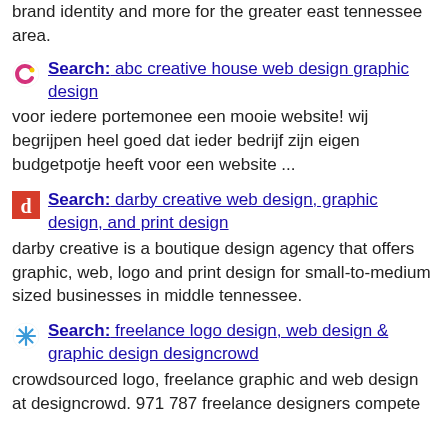brand identity and more for the greater east tennessee area.
Search: abc creative house web design graphic design — voor iedere portemonee een mooie website! wij begrijpen heel goed dat ieder bedrijf zijn eigen budgetpotje heeft voor een website ...
Search: darby creative web design, graphic design, and print design — darby creative is a boutique design agency that offers graphic, web, logo and print design for small-to-medium sized businesses in middle tennessee.
Search: freelance logo design, web design & graphic design designcrowd — crowdsourced logo, freelance graphic and web design at designcrowd. 971 787 freelance designers compete